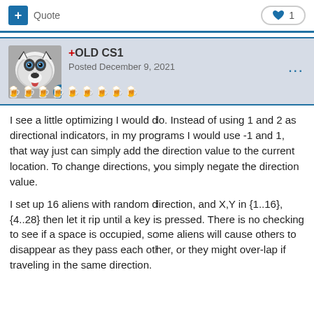+ Quote | ❤ 1
[Figure (photo): Forum post header showing user avatar (husky dog), badge icon, username '+OLD CS1', post date 'Posted December 9, 2021', medal icons row, and more options dots]
I see a little optimizing I would do.  Instead of using 1 and 2 as directional indicators, in my programs I would use -1 and 1, that way just can simply add the direction value to the current location.  To change directions, you simply negate the direction value.
I set up 16 aliens with random direction, and X,Y in {1..16}, {4..28} then let it rip until a key is pressed.  There is no checking to see if a space is occupied, some aliens will cause others to disappear as they pass each other, or they might over-lap if traveling in the same direction.